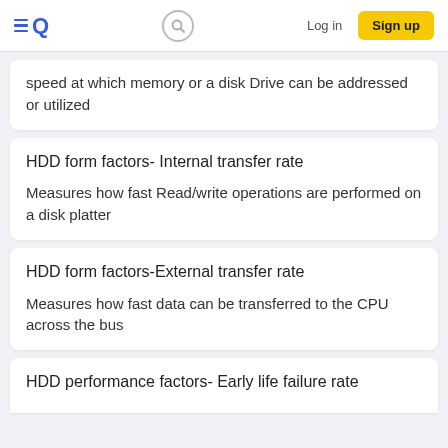Quizlet — Log in | Sign up
speed at which memory or a disk Drive can be addressed or utilized
HDD form factors- Internal transfer rate
Measures how fast Read/write operations are performed on a disk platter
HDD form factors-External transfer rate
Measures how fast data can be transferred to the CPU across the bus
HDD performance factors- Early life failure rate